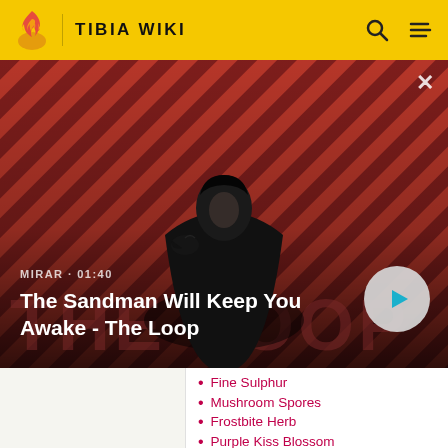TIBIA WIKI
[Figure (photo): Promotional video banner for 'The Sandman Will Keep You Awake - The Loop', showing a dark figure with a raven on a striped red and black background with THE LOOP text. Duration label MIRAR · 01:40 shown.]
MIRAR · 01:40
The Sandman Will Keep You Awake - The Loop
Fine Sulphur
Mushroom Spores
Frostbite Herb
Purple Kiss Blossom
Scale from a Frozen Dragon
Resonance Crystal